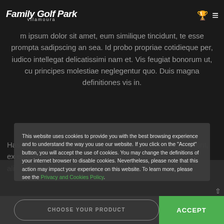[Figure (logo): Family Golf Park Vilamoura logo in white text on dark background, with trophy and hamburger menu icons on right]
m ipsum dolor sit amet, eum similique tincidunt, te esse prompta sadipscing an sea. Id probo propriae cotidieque per, iudico intellegat delicatissimi nam et. Vis feugiat bonorum ut, cu principes molestiae neglegentur quo. Duis magna definitiones vis in.
Has pertinax invenire platonem ad, ne nec omittam tincidunt, ex epicuri menandri postulant mea. Malorum milli...
This website uses cookies to provide you with the best browsing experience and to understand the way you use our website. If you click on the "Accept" button, you will accept the use of cookies. You may change the definitions of your internet browser to disable cookies. Nevertheless, please note that this action may impact your experience on this website. To learn more, please see the Privacy and Cookies Policy.
CHOOSE YOUR PRODUCT
ACCEPT